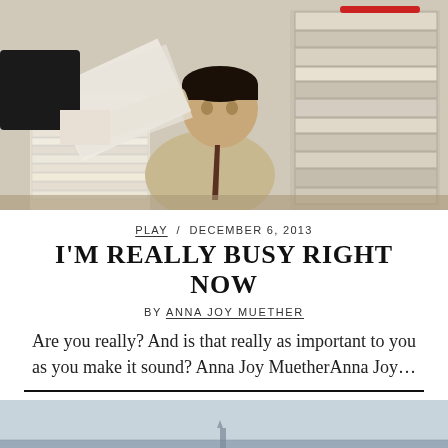[Figure (photo): A man at a cluttered desk overflowing with stacks of papers and files, receiving more papers from an outstretched hand, looking stressed and overwhelmed.]
PLAY / DECEMBER 6, 2013
I'M REALLY BUSY RIGHT NOW
BY ANNA JOY MUETHER
Are you really? And is that really as important to you as you make it sound? Anna Joy MuetherAnna Joy...
[Figure (photo): Partial view of a second article photo showing a pale sky/water scene at the bottom of the page.]